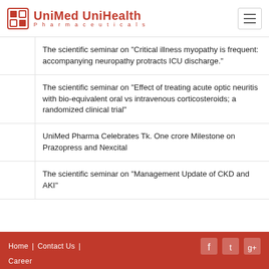UniMed UniHealth Pharmaceuticals
The scientific seminar on "Critical illness myopathy is frequent: accompanying neuropathy protracts ICU discharge."
The scientific seminar on "Effect of treating acute optic neuritis with bio-equivalent oral vs intravenous corticosteroids; a randomized clinical trial"
UniMed Pharma Celebrates Tk. One crore Milestone on Prazopress and Nexcital
The scientific seminar on "Management Update of CKD and AKI"
Home | Contact Us | Career